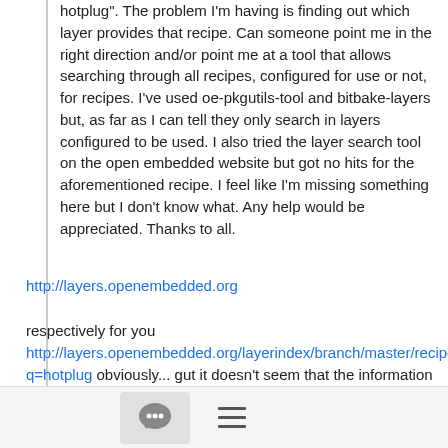hotplug".  The problem I'm having is finding out which layer provides that recipe.  Can someone point me in the right direction and/or point me at a tool that allows searching through all recipes, configured for use or not, for recipes.  I've used oe-pkgutils-tool and bitbake-layers but, as far as I can tell they only search in layers configured to be used.  I also tried the layer search tool on the open embedded website but got no hits for the aforementioned recipe.  I feel like I'm missing something here but I don't know what.  Any help would be appreciated.  Thanks to all.
http://layers.openembedded.org
respectively for you http://layers.openembedded.org/layerindex/branch/master/recipes/?q=hotplug obviously... gut it doesn't seem that the information you based your question on is accurate, no "linux-hotplug" there. If I had to guess, then you found either something massively
[Figure (other): Footer bar with a chat bubble icon button and a hamburger menu icon]